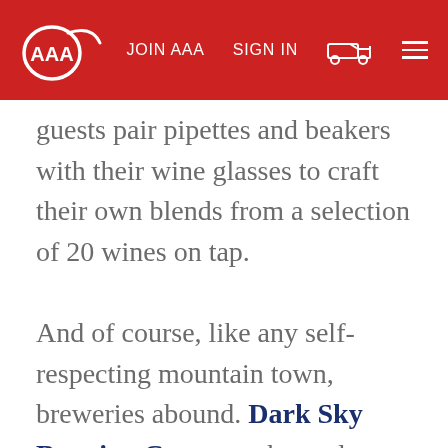AAA | JOIN AAA | SIGN IN
guests pair pipettes and beakers with their wine glasses to craft their own blends from a selection of 20 wines on tap.

And of course, like any self-respecting mountain town, breweries abound. Dark Sky Brewing Company has a dog-friendly patio and an industrial vibe. Perennial favorite Mother Road Brewing Co. is located on a historic section of Route 66 and hosts guest brews on tap alongside